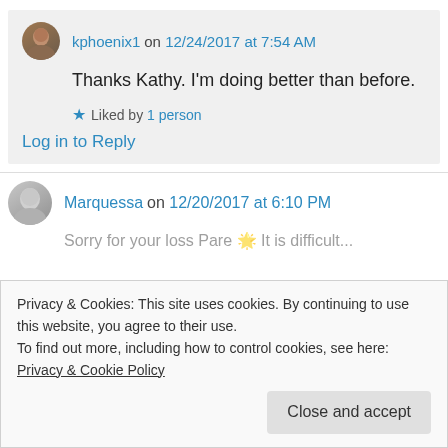kphoenix1 on 12/24/2017 at 7:54 AM
Thanks Kathy. I'm doing better than before.
Liked by 1 person
Log in to Reply
Marquessa on 12/20/2017 at 6:10 PM
Privacy & Cookies: This site uses cookies. By continuing to use this website, you agree to their use.
To find out more, including how to control cookies, see here: Privacy & Cookie Policy
Close and accept